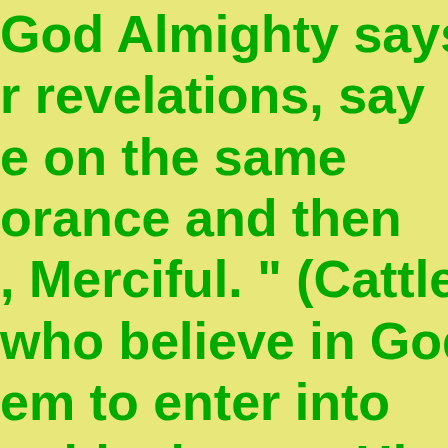God Almighty says r revelations, say e on the same orance and then , Merciful. " (Cattle, who believe in God em to enter into guide them to His nd who despairs of go astray " (Al-Hijr look at the effects